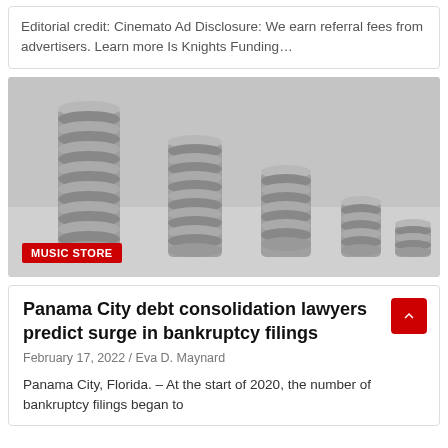Editorial credit: Cinemato Ad Disclosure: We earn referral fees from advertisers. Learn more Is Knights Funding…
[Figure (photo): Black and white photograph of five stacks of coins in descending height order from left to right, symbolizing declining finances or debt]
MUSIC STORE
Panama City debt consolidation lawyers predict surge in bankruptcy filings
February 17, 2022 / Eva D. Maynard
Panama City, Florida. – At the start of 2020, the number of bankruptcy filings began to